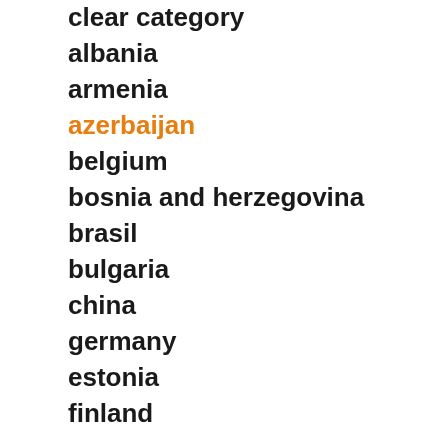clear category
albania
armenia
azerbaijan
belgium
bosnia and herzegovina
brasil
bulgaria
china
germany
estonia
finland
france
georgia
greece
great britain